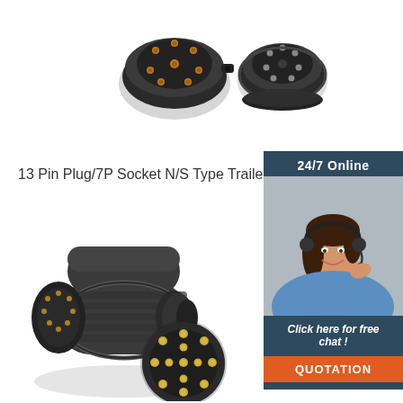[Figure (photo): Two black trailer connector plugs shown from the front face (circular pin connectors), one 7-pin and one smaller circular plug, on white background]
13 Pin Plug/7P Socket N/S Type Trailer
[Figure (infographic): Customer support sidebar: '24/7 Online' header in dark blue, photo of smiling woman in blue shirt with headset, 'Click here for free chat!' text, and orange 'QUOTATION' button]
[Figure (photo): A dark grey 13-pin trailer plug shown at an angle and from the front face showing gold pins arrangement, on white background]